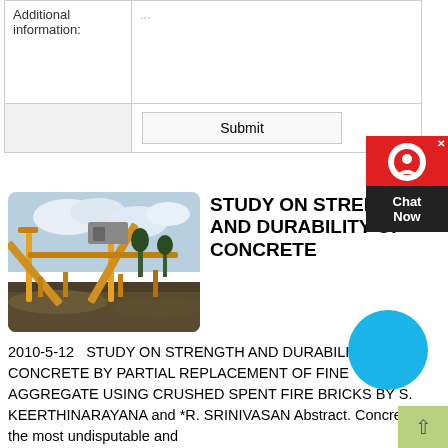| Additional information: | ... |
| --- | --- |
Submit
[Figure (photo): Industrial aggregate crushing machinery with conveyor belts, photographed outdoors against a cloudy sky.]
STUDY ON STRENGTH AND DURABILITY OF CONCRETE
2010-5-12   STUDY ON STRENGTH AND DURABILITY OF CONCRETE BY PARTIAL REPLACEMENT OF FINE AGGREGATE USING CRUSHED SPENT FIRE BRICKS BY S. KEERTHINARAYANA and *R. SRINIVASAN Abstract. Concrete is the most undisputable and